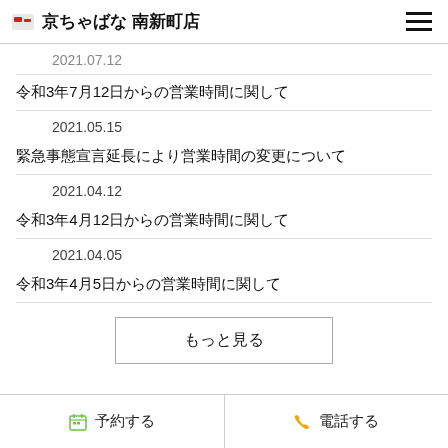京ちゃばな 南新町店
2021.07.12
令和3年7月12日からの営業時間に関して
2021.05.15
緊急事態宣言延長により営業時間の変更について
2021.04.12
令和3年4月12日からの営業時間に関して
2021.04.05
令和3年4月5日からの営業時間に関して
もっと見る
予約する　電話する